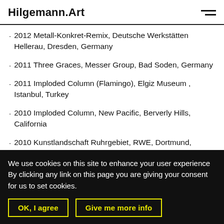Hilgemann.Art
2012 Metall-Konkret-Remix, Deutsche Werkstätten Hellerau, Dresden, Germany
2011 Three Graces, Messer Group, Bad Soden, Germany
2011 Imploded Column (Flamingo), Elgiz Museum , Istanbul, Turkey
2010 Imploded Column, New Pacific, Berverly Hills, California
2010 Kunstlandschaft Ruhrgebiet, RWE, Dortmund, Germany
2009 Positionen Konkreter Kunst heute
We use cookies on this site to enhance your user experience By clicking any link on this page you are giving your consent for us to set cookies.
OK, I agree | Give me more info